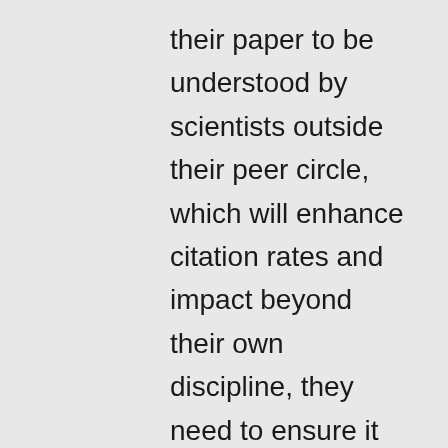their paper to be understood by scientists outside their peer circle, which will enhance citation rates and impact beyond their own discipline, they need to ensure it is written well. ‘Good’ writing means sentences written with correct grammar and syntax, regardless of the content. I am not arguing that scientists should use ‘florid and artistic’ language in their papers. Humanities courses do not just teach ‘art, poetry